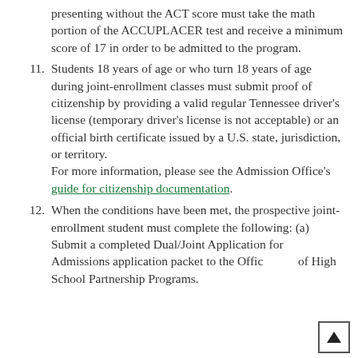presenting without the ACT score must take the math portion of the ACCUPLACER test and receive a minimum score of 17 in order to be admitted to the program.
11. Students 18 years of age or who turn 18 years of age during joint-enrollment classes must submit proof of citizenship by providing a valid regular Tennessee driver's license (temporary driver's license is not acceptable) or an official birth certificate issued by a U.S. state, jurisdiction, or territory. For more information, please see the Admission Office's guide for citizenship documentation.
12. When the conditions have been met, the prospective joint-enrollment student must complete the following: (a)  Submit a completed Dual/Joint Application for Admissions application packet to the Office of High School Partnership Programs.